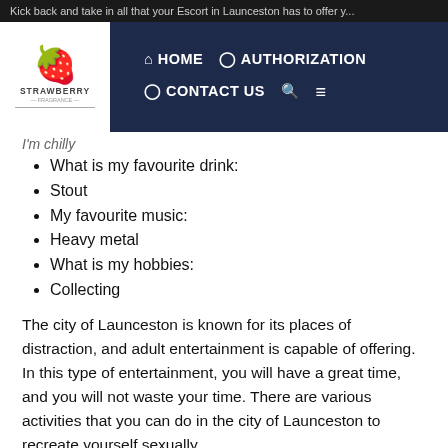Kick back and take in all that your Escort in Launceston has to offer y...
[Figure (screenshot): Website navigation bar with Strawberry logo on left and nav links HOME, AUTHORIZATION, CONTACT US, search and menu icons on dark navy background]
I'm chilly
What is my favourite drink:
Stout
My favourite music:
Heavy metal
What is my hobbies:
Collecting
The city of Launceston is known for its places of distraction, and adult entertainment is capable of offering. In this type of entertainment, you will have a great time, and you will not waste your time. There are various activities that you can do in the city of Launceston to recreate yourself sexually.